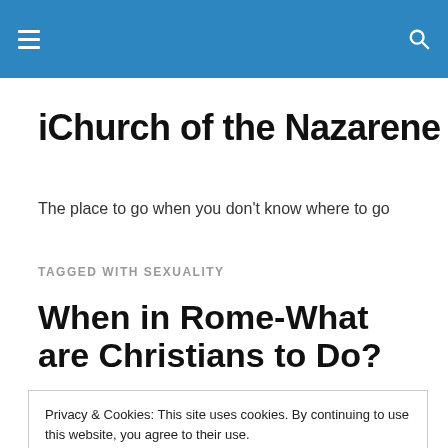iChurch of the Nazarene — site navigation header bar
iChurch of the Nazarene
The place to go when you don't know where to go
TAGGED WITH SEXUALITY
When in Rome-What are Christians to Do?
Privacy & Cookies: This site uses cookies. By continuing to use this website, you agree to their use.
To find out more, including how to control cookies, see here: Cookie Policy
Close and accept